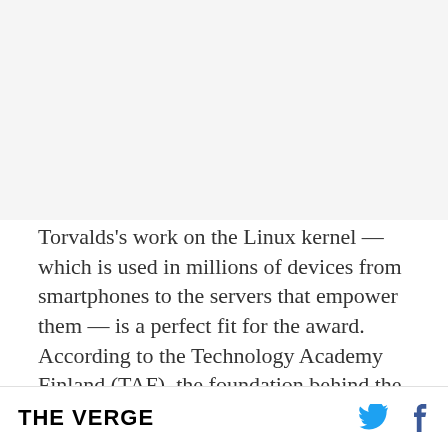[Figure (photo): Large image placeholder at top of article page (appears blank/white in this view)]
Torvalds's work on the Linux kernel — which is used in millions of devices from smartphones to the servers that empower them — is a perfect fit for the award. According to the Technology Academy Finland (TAF), the foundation behind the prize, 72,000 man-years have been spent collaboratively
THE VERGE